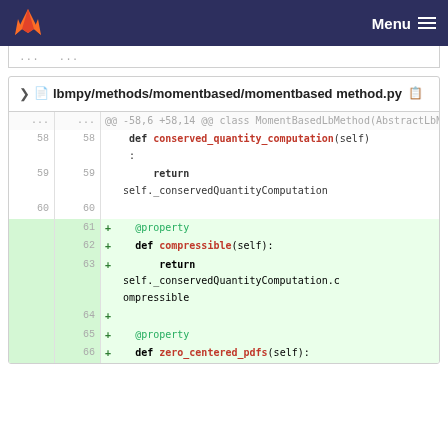Menu
... ...
lbmpy/methods/momentbased/momentbasedmethod.py
@@ -58,6 +58,14 @@ class MomentBasedLbMethod(AbstractLbMethod):
58  58      def conserved_quantity_computation(self):
59  59          return self._conservedQuantityComputation
60  60
    61  +    @property
    62  +    def compressible(self):
    63  +        return self._conservedQuantityComputation.compressible
    64  +
    65  +    @property
    66  +    def zero_centered_pdfs(self):